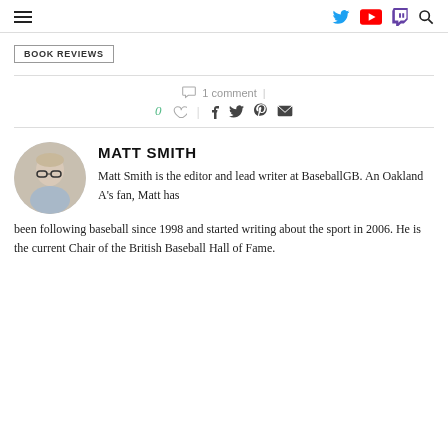BOOK REVIEWS
1 comment
0
MATT SMITH
Matt Smith is the editor and lead writer at BaseballGB. An Oakland A's fan, Matt has been following baseball since 1998 and started writing about the sport in 2006. He is the current Chair of the British Baseball Hall of Fame.